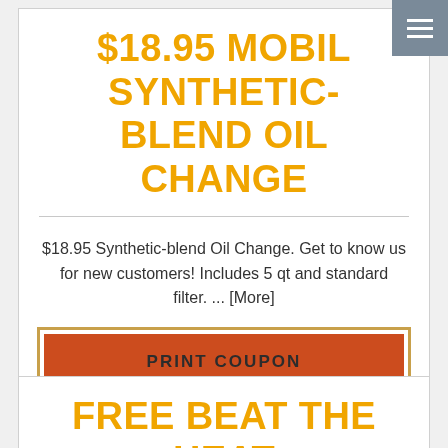$18.95 MOBIL SYNTHETIC-BLEND OIL CHANGE
$18.95 Synthetic-blend Oil Change. Get to know us for new customers! Includes 5 qt and standard filter. ... [More]
PRINT COUPON
EXP 9/14/2022
FREE BEAT THE HEAT